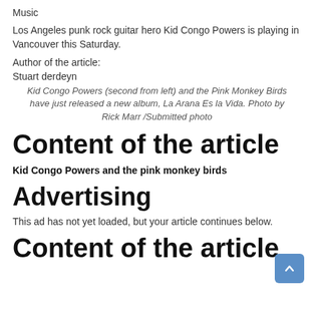Music
Los Angeles punk rock guitar hero Kid Congo Powers is playing in Vancouver this Saturday.
Author of the article:
Stuart derdeyn
Kid Congo Powers (second from left) and the Pink Monkey Birds have just released a new album, La Arana Es la Vida. Photo by Rick Marr /Submitted photo
Content of the article
Kid Congo Powers and the pink monkey birds
Advertising
This ad has not yet loaded, but your article continues below.
Content of the article